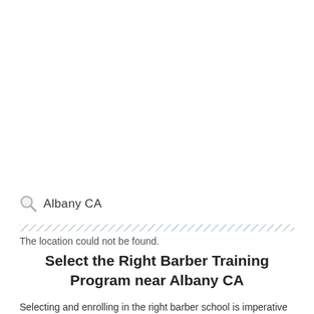[Figure (screenshot): Search bar with magnifying glass icon and text 'Albany CA']
[Figure (other): Diagonal hatched divider line]
The location could not be found.
Select the Right Barber Training Program near Albany CA
Selecting and enrolling in the right barber school is imperative